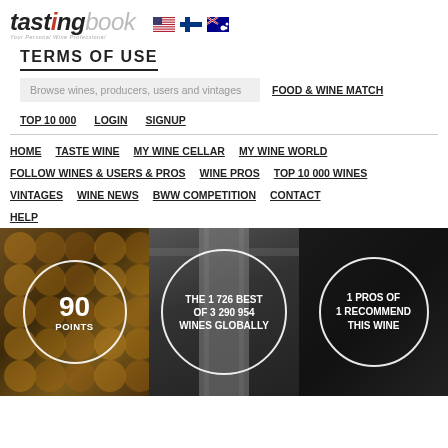[Figure (logo): TastingBook logo with US, Finnish, and Australian flags]
TERMS OF USE
Browse wines, producers, users and vintages
FOOD & WINE MATCH
TOP 10 000
LOGIN
SIGNUP
HOME
TASTE WINE
MY WINE CELLAR
MY WINE WORLD
FOLLOW WINES & USERS & PROS
WINE PROS
TOP 10 000 WINES
VINTAGES
WINE NEWS
BWW COMPETITION
CONTACT
HELP
[Figure (infographic): Three circular badges on dark wine bottle background: '90 POINTS', 'THE 1 726 BEST OF 3 290 954 WINES GLOBALLY', '1 PROS OF 1 RECOMMEND THIS WINE']